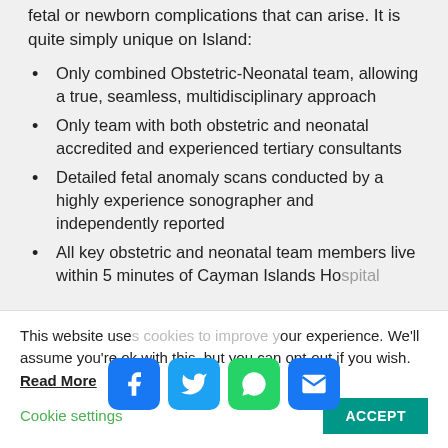fetal or newborn complications that can arise. It is quite simply unique on Island:
Only combined Obstetric-Neonatal team, allowing a true, seamless, multidisciplinary approach
Only team with both obstetric and neonatal accredited and experienced tertiary consultants
Detailed fetal anomaly scans conducted by a highly experience sonographer and independently reported
All key obstetric and neonatal team members live within 5 minutes of Cayman Islands Ho[spital]
[Figure (other): Social share buttons: Facebook, Twitter, WhatsApp, Email]
This website use[s cookies to improve] your experience. We'll assume you're ok with this, but you can opt-out if you wish. Read More  Cookie settings  ACCEPT